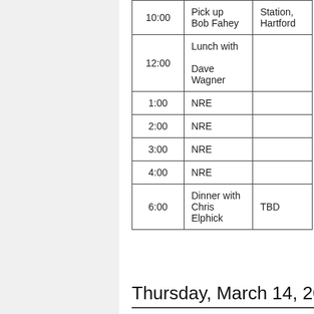| Time | Event | Location |
| --- | --- | --- |
| 10:00 | Pick up Bob Fahey | Station, Hartford |
| 12:00 | Lunch with Dave Wagner |  |
| 1:00 | NRE |  |
| 2:00 | NRE |  |
| 3:00 | NRE |  |
| 4:00 | NRE |  |
| 6:00 | Dinner with Chris Elphick | TBD |
Thursday, March 14, 2019